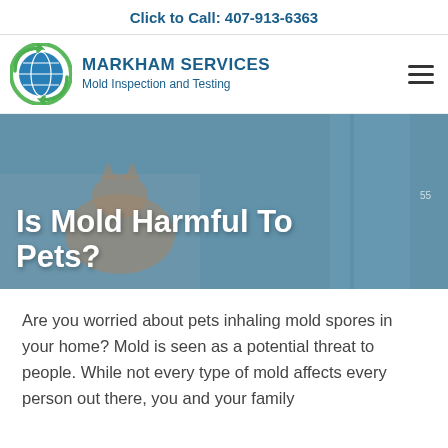Click to Call: 407-913-6363
[Figure (logo): Markham Services logo with globe and green arrows, company name and tagline]
[Figure (photo): Hero image of a cat walking in a room with mold-related blue overlay, title text 'Is Mold Harmful To Pets?' overlaid in white bold text]
Is Mold Harmful To Pets?
Are you worried about pets inhaling mold spores in your home? Mold is seen as a potential threat to people. While not every type of mold affects every person out there, you and your family